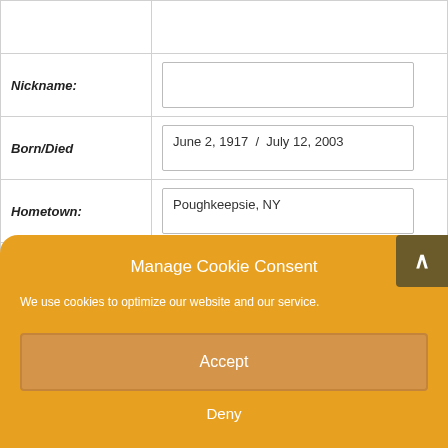|  |  |
| Nickname: |  |
| Born/Died | June 2, 1917  /  July 12, 2003 |
| Hometown: | Poughkeepsie, NY |
Manage Cookie Consent
We use cookies to optimize our website and our service.
Accept
Deny